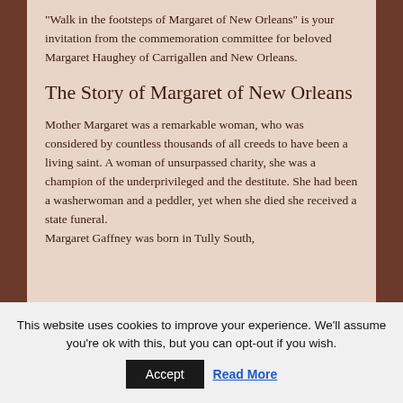“Walk in the footsteps of Margaret of New Orleans” is your invitation from the commemoration committee for beloved Margaret Haughey of Carrigallen and New Orleans.
The Story of Margaret of New Orleans
Mother Margaret was a remarkable woman, who was considered by countless thousands of all creeds to have been a living saint. A woman of unsurpassed charity, she was a champion of the underprivileged and the destitute. She had been a washerwoman and a peddler, yet when she died she received a state funeral. Margaret Gaffney was born in Tully South,
This website uses cookies to improve your experience. We’ll assume you’re ok with this, but you can opt-out if you wish.
Accept  Read More